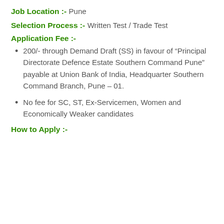Job Location :- Pune
Selection Process :- Written Test / Trade Test
Application Fee :-
200/- through Demand Draft (SS) in favour of “Principal Directorate Defence Estate Southern Command Pune” payable at Union Bank of India, Headquarter Southern Command Branch, Pune – 01.
No fee for SC, ST, Ex-Servicemen, Women and Economically Weaker candidates
How to Apply :-